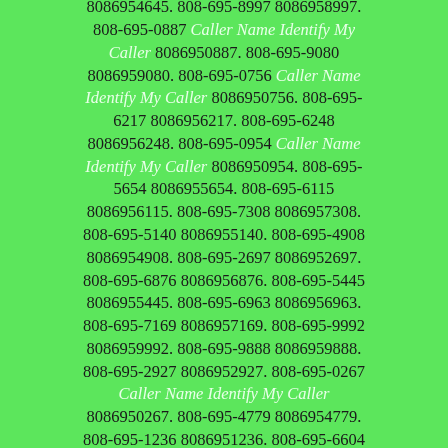8086954645. 808-695-8997 8086958997. 808-695-0887 Caller Name Identify My Caller 8086950887. 808-695-9080 8086959080. 808-695-0756 Caller Name Identify My Caller 8086950756. 808-695-6217 8086956217. 808-695-6248 8086956248. 808-695-0954 Caller Name Identify My Caller 8086950954. 808-695-5654 8086955654. 808-695-6115 8086956115. 808-695-7308 8086957308. 808-695-5140 8086955140. 808-695-4908 8086954908. 808-695-2697 8086952697. 808-695-6876 8086956876. 808-695-5445 8086955445. 808-695-6963 8086956963. 808-695-7169 8086957169. 808-695-9992 8086959992. 808-695-9888 8086959888. 808-695-2927 8086952927. 808-695-0267 Caller Name Identify My Caller 8086950267. 808-695-4779 8086954779. 808-695-1236 8086951236. 808-695-6604 8086956604. 808-695-5111